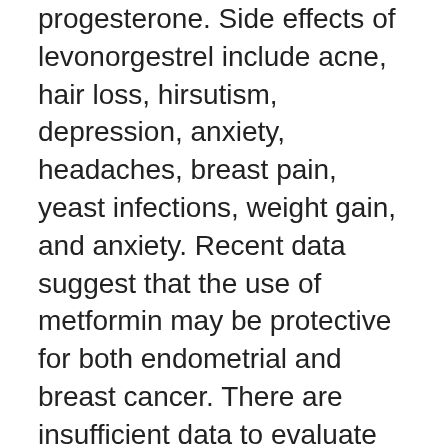progesterone. Side effects of levonorgestrel include acne, hair loss, hirsutism, depression, anxiety, headaches, breast pain, yeast infections, weight gain, and anxiety. Recent data suggest that the use of metformin may be protective for both endometrial and breast cancer. There are insufficient data to evaluate any association between PCOS and vaginal, vulvar and cervical cancer or uterine leiomyosarcoma. 2011-10-28 · After having the Mirena put in I have developed PCOS.
I can't feel my Mirena, except when I reach for the strings to check placement each month, so I hardly know it's there. Pound by pound, the extra puffiness I'd gained around my middle from PCOS 2020-12-09 · This IUD can cause severe infection, miscarriage, premature birth, or death of the mother if left in place during pregnancy. Tell your doctor...